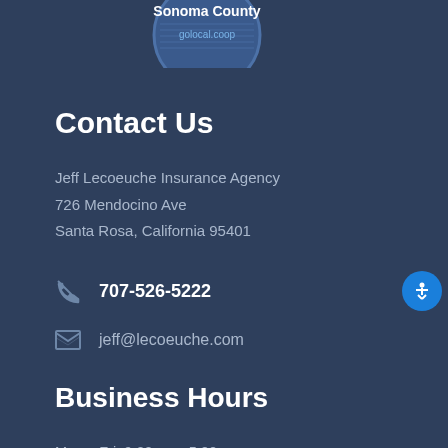[Figure (logo): Sonoma County golocal.coop circular logo badge, blue circle with horizontal line pattern]
Contact Us
Jeff Lecoeuche Insurance Agency
726 Mendocino Ave
Santa Rosa, California 95401
707-526-5222
jeff@lecoeuche.com
Business Hours
Mon – Fri: 9:00am – 5:00pm
Closed from 12pm – 1pm for lunch hour.
CONTACT AGENT